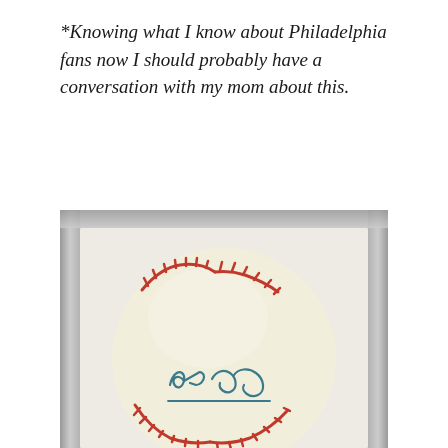*Knowing what I know about Philadelphia fans now I should probably have a conversation with my mom about this.
[Figure (photo): An autographed baseball displayed in a clear acrylic display case. The baseball has red stitching and a blue cursive signature that reads 'Will Clark' or similar.]